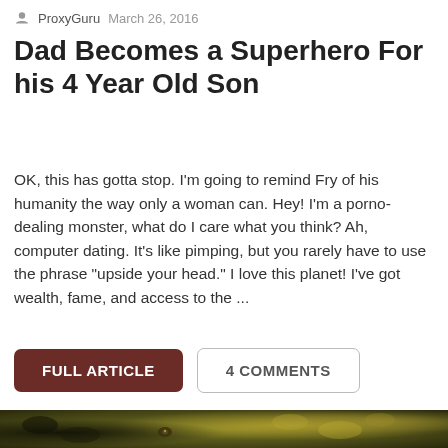ProxyGuru  March 26, 2016
Dad Becomes a Superhero For his 4 Year Old Son
OK, this has gotta stop. I’m going to remind Fry of his humanity the way only a woman can. Hey! I’m a porno-dealing monster, what do I care what you think? Ah, computer dating. It’s like pimping, but you rarely have to use the phrase “upside your head.” I love this planet! I’ve got wealth, fame, and access to the ...
FULL ARTICLE
4 COMMENTS
[Figure (photo): Close-up photo of a crocodile, partially visible at the bottom of the page, with a warm golden-olive color tone.]